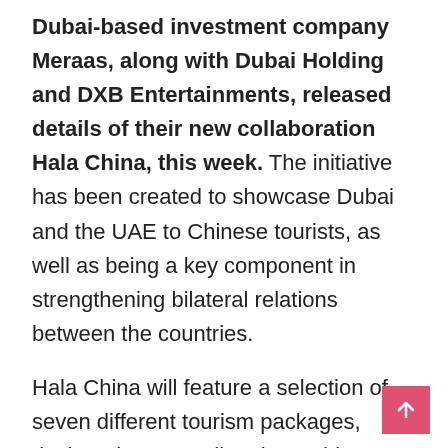Dubai-based investment company Meraas, along with Dubai Holding and DXB Entertainments, released details of their new collaboration Hala China, this week. The initiative has been created to showcase Dubai and the UAE to Chinese tourists, as well as being a key component in strengthening bilateral relations between the countries.

Hala China will feature a selection of seven different tourism packages, designed to cater directly to Chinese interests, including stay, shop, eat, play, explore, wellness and concierge.